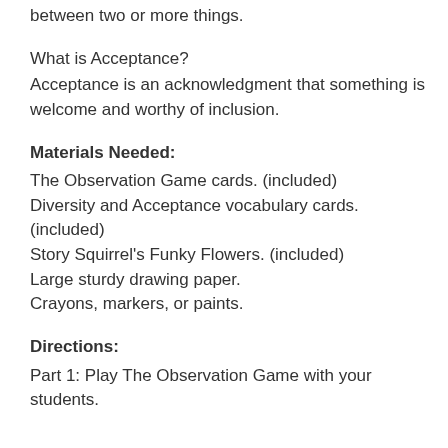between two or more things.
What is Acceptance?
Acceptance is an acknowledgment that something is welcome and worthy of inclusion.
Materials Needed:
The Observation Game cards. (included)
Diversity and Acceptance vocabulary cards. (included)
Story Squirrel's Funky Flowers. (included)
Large sturdy drawing paper.
Crayons, markers, or paints.
Directions:
Part 1: Play The Observation Game with your students.